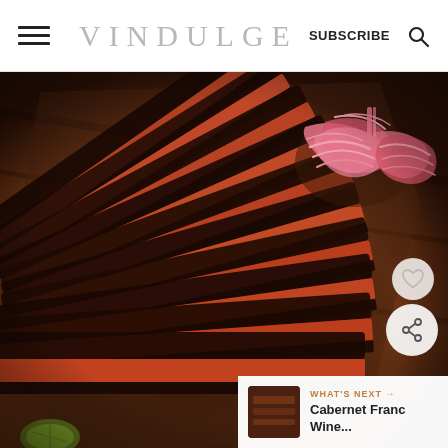VINDULGE  SUBSCRIBE
[Figure (photo): Overhead shot of sliced smoked brisket fanned out on a wooden cutting board with pink pickled onions on the upper right and a lime wedge at the bottom left. Dark moody BBQ food photography.]
WHAT'S NEXT → Cabernet Franc Wine...